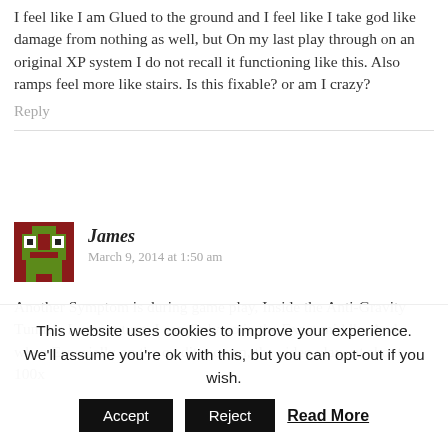I feel like I am Glued to the ground and I feel like I take god like damage from nothing as well, but On my last play through on an original XP system I do not recall it functioning like this. Also ramps feel more like stairs. Is this fixable? or am I crazy?
Reply
[Figure (illustration): Pixel art avatar icon with brown and green colors representing user James]
James
March 9, 2014 at 1:50 am
Another Symptom is during game play, Inside the Anti-Gravity Tunnels I cannot turn. I can Only go in the Exact middle. And when Especially on the credits screen, the video plays at about 100x
This website uses cookies to improve your experience. We'll assume you're ok with this, but you can opt-out if you wish.
Accept
Reject
Read More